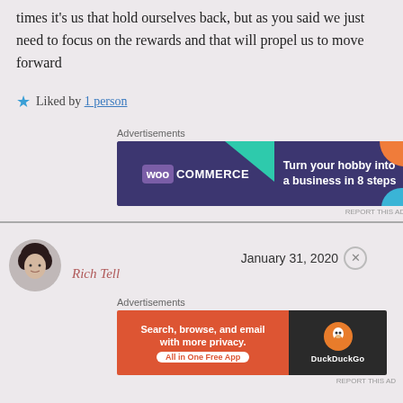times it's us that hold ourselves back, but as you said we just need to focus on the rewards and that will propel us to move forward
★ Liked by 1 person
Advertisements
[Figure (infographic): WooCommerce advertisement banner: dark purple background with WooCommerce logo on left, teal triangle shape, orange circle shape, text reads 'Turn your hobby into a business in 8 steps']
Advertisements
[Figure (photo): Circular avatar photo of a person with dark curly hair]
Rich Tell
January 31, 2020
[Figure (infographic): DuckDuckGo advertisement banner: orange left side with text 'Search, browse, and email with more privacy. All in One Free App', dark right side with DuckDuckGo logo]